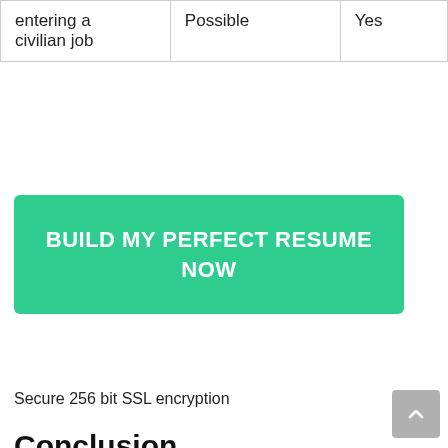| entering a civilian job | Possible | Yes |
BUILD MY PERFECT RESUME NOW
Secure 256 bit SSL encryption
Conclusion
A resume is a brief document used to summarize and highlight a job seeker's experience and qualifications for a prospective employer.
Because your resume includes the job